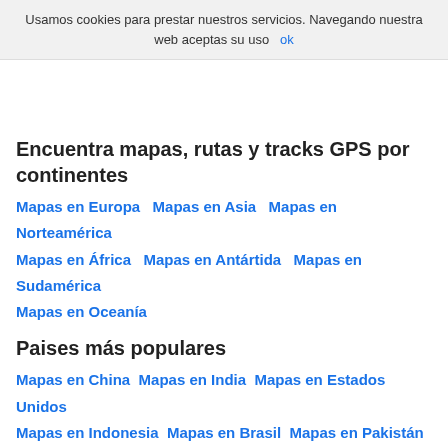Usamos cookies para prestar nuestros servicios. Navegando nuestra web aceptas su uso  ok
Encuentra mapas, rutas y tracks GPS por continentes
Mapas en Europa  Mapas en Asia  Mapas en Norteamérica  Mapas en África  Mapas en Antártida  Mapas en Sudamérica  Mapas en Oceanía
Paises más populares
Mapas en China  Mapas en India  Mapas en Estados Unidos  Mapas en Indonesia  Mapas en Brasil  Mapas en Pakistán  Mapas en Bangladesh  Mapas en Nigeria  Mapas en Rusia  Mapas en Japón  Mapas en México  Mapas en Filipinas  Mapas en Vietnam  Mapas en Etiopía  Mapas en Alemania  Mapas en Egipto  Mapas en Tanzania  Mapas en...